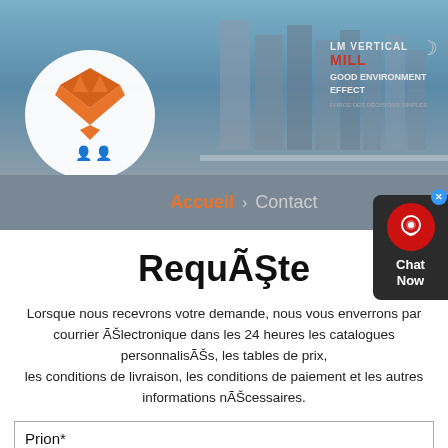[Figure (screenshot): Website header banner with industrial silos background, orange fox logo, LM Vertical Mill text, and moon icon]
Accueil > Contact
RequÃŞte
Lorsque nous recevrons votre demande, nous vous enverrons par courrier ÃŠlectronique dans les 24 heures les catalogues personnalisÃŠs, les tables de prix, les conditions de livraison, les conditions de paiement et les autres informations nÃŠcessaires.
Prion*